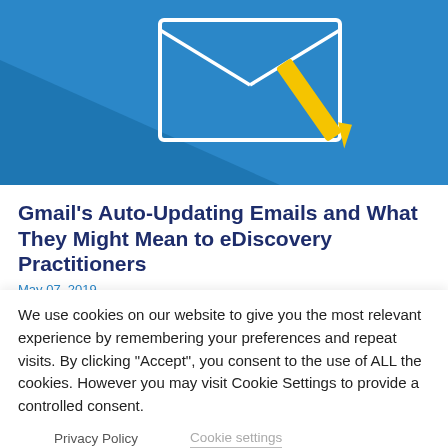[Figure (illustration): Hero banner image with blue background showing an envelope/email icon with a yellow pen/pencil, representing Gmail or email theme.]
Gmail’s Auto-Updating Emails and What They Might Mean to eDiscovery Practitioners
May 07, 2019
We use cookies on our website to give you the most relevant experience by remembering your preferences and repeat visits. By clicking “Accept”, you consent to the use of ALL the cookies. However you may visit Cookie Settings to provide a controlled consent.
Privacy Policy
Cookie settings
ACCEPT